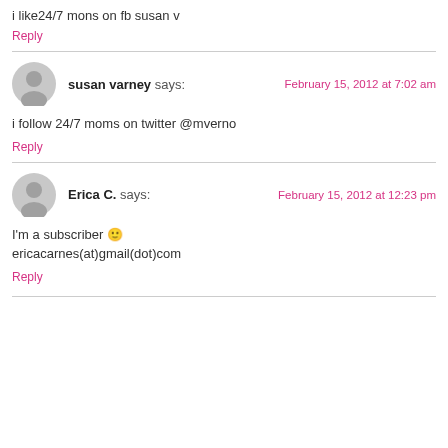i like24/7 mons on fb susan v
Reply
susan varney says:
February 15, 2012 at 7:02 am
i follow 24/7 moms on twitter @mverno
Reply
Erica C. says:
February 15, 2012 at 12:23 pm
I'm a subscriber 🙂 ericacarnes(at)gmail(dot)com
Reply